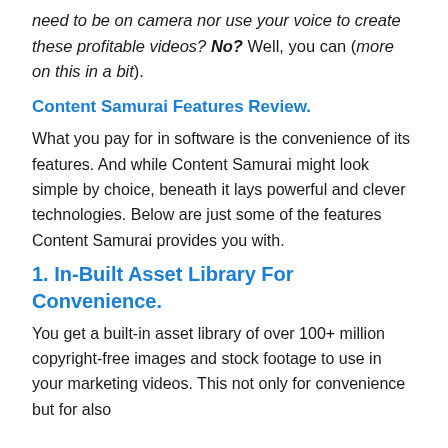need to be on camera nor use your voice to create these profitable videos? No? Well, you can (more on this in a bit).
Content Samurai Features Review.
What you pay for in software is the convenience of its features. And while Content Samurai might look simple by choice, beneath it lays powerful and clever technologies. Below are just some of the features Content Samurai provides you with.
1. In-Built Asset Library For Convenience.
You get a built-in asset library of over 100+ million copyright-free images and stock footage to use in your marketing videos. This not only for convenience but for also